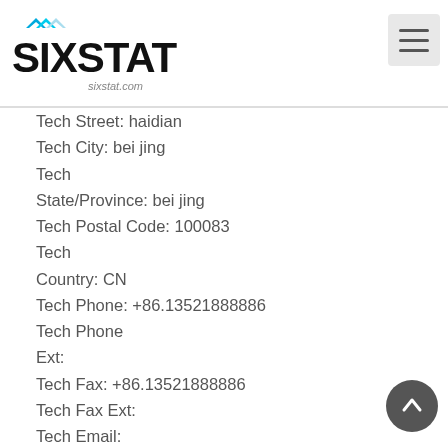SIXSTAT logo and navigation
Tech Street: haidian
Tech City: bei jing
Tech
State/Province: bei jing
Tech Postal Code: 100083
Tech
Country: CN
Tech Phone: +86.13521888886
Tech Phone
Ext:
Tech Fax: +86.13521888886
Tech Fax Ext:
Tech Email:
domainart@163.com
Name Server: dns1.iidns.com
Name Server:
dns2.iidns.com
Name Server: dns3.iidns.com
Name Server:
dns4.iidns.com
Name Server: dns5.iidns.com